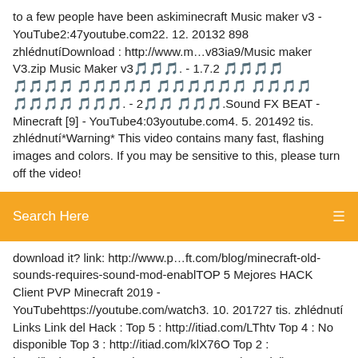to a few people have been askiminecraft Music maker v3 - YouTube2:47youtube.com22. 12. 20132 898 zhlédnutíDownload : http://www.m…v83ia9/Music maker V3.zip Music Maker v3🎵🎵🎵. - 1.7.2 🎵🎵🎵🎵 🎵🎵🎵🎵 🎵🎵🎵🎵🎵 🎵🎵🎵🎵🎵🎵 🎵🎵🎵🎵 🎵🎵🎵🎵 🎵🎵🎵. - 2🎵🎵 🎵🎵🎵.Sound FX BEAT - Minecraft [9] - YouTube4:03youtube.com4. 5. 201492 tis. zhlédnutí*Warning* This video contains many fast, flashing images and colors. If you may be sensitive to this, please turn off the video!
[Figure (screenshot): Orange search bar with 'Search Here' placeholder text and a search icon on the right]
download it? link: http://www.p…ft.com/blog/minecraft-old-sounds-requires-sound-mod-enablTOP 5 Mejores HACK Client PVP Minecraft 2019 - YouTubehttps://youtube.com/watch3. 10. 201727 tis. zhlédnutí Links Link del Hack : Top 5 : http://itiad.com/LThtv Top 4 : No disponible Top 3 : http://itiad.com/klX76O Top 2 : http://itMinecraft 4x4 Elevator - HOW TO - (Tutorial) TU39 XBOX / PS3…18:29youtube.com25. 8. 20167 307 zhlédnutíim a big boy now! (-: PLZ LIKE & Subscribe! https://www.….WC2Undczoneq Minecraft : 4 x Sand Redstone Piston Elevator ( TutorialPixelmon Reforgedhttps://reforged.ggDownload Pixelmon here, The Mod for Minecraft  |